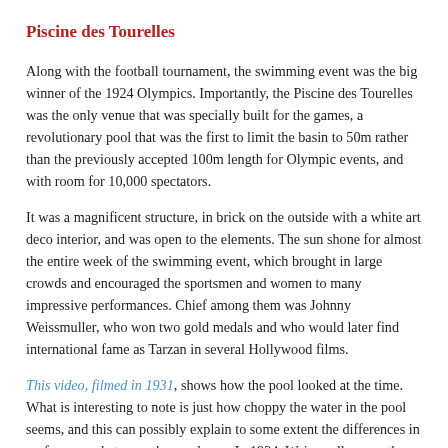Piscine des Tourelles
Along with the football tournament, the swimming event was the big winner of the 1924 Olympics. Importantly, the Piscine des Tourelles was the only venue that was specially built for the games, a revolutionary pool that was the first to limit the basin to 50m rather than the previously accepted 100m length for Olympic events, and with room for 10,000 spectators.
It was a magnificent structure, in brick on the outside with a white art deco interior, and was open to the elements. The sun shone for almost the entire week of the swimming event, which brought in large crowds and encouraged the sportsmen and women to many impressive performances. Chief among them was Johnny Weissmuller, who won two gold medals and who would later find international fame as Tarzan in several Hollywood films.
This video, filmed in 1931, shows how the pool looked at the time. What is interesting to note is just how choppy the water in the pool seems, and this can possibly explain to some extent the differences in performance between then and now. In 1924, Weissmuller won the 100m freestyle gold in 59 seconds. In 2008, the Frenchman Alain Bernard claimed gold with a time of 47.21 seconds!